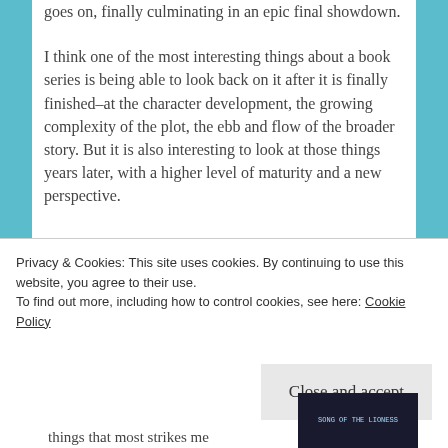goes on, finally culminating in an epic final showdown.
I think one of the most interesting things about a book series is being able to look back on it after it is finally finished–at the character development, the growing complexity of the plot, the ebb and flow of the broader story. But it is also interesting to look at those things years later, with a higher level of maturity and a new perspective.
Privacy & Cookies: This site uses cookies. By continuing to use this website, you agree to their use.
To find out more, including how to control cookies, see here: Cookie Policy
Close and accept
things that most strikes me
[Figure (photo): Book cover image, dark background with blue text reading 'Song of the Lioness' or similar fantasy series title]